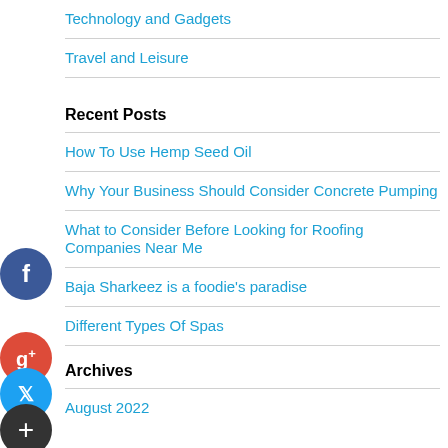Technology and Gadgets
Travel and Leisure
Recent Posts
How To Use Hemp Seed Oil
Why Your Business Should Consider Concrete Pumping
What to Consider Before Looking for Roofing Companies Near Me
Baja Sharkeez is a foodie's paradise
Different Types Of Spas
Archives
August 2022